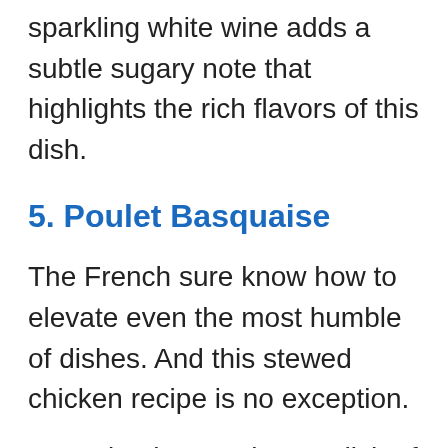sparkling white wine adds a subtle sugary note that highlights the rich flavors of this dish.
5. Poulet Basquaise
The French sure know how to elevate even the most humble of dishes. And this stewed chicken recipe is no exception.
It's a simple, yet elegant dish of braised chicken and fragrant tomato sauce prepared with attention and a few French cooking techniques.